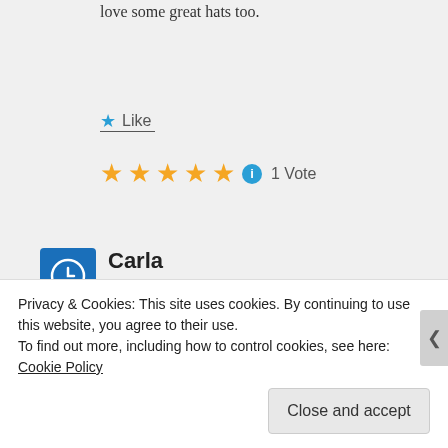love some great hats too.
★ Like
★★★★★ ⓘ 1 Vote
Carla
DECEMBER 6, 2012 AT 11:02 AM
Ha... Hilarious.. So real,, so true...
★ Like
Privacy & Cookies: This site uses cookies. By continuing to use this website, you agree to their use.
To find out more, including how to control cookies, see here: Cookie Policy
Close and accept